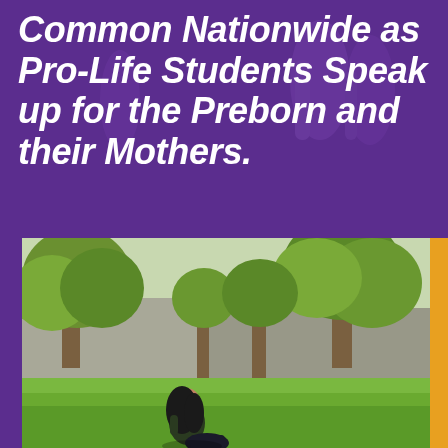Common Nationwide as Pro-Life Students Speak up for the Preborn and their Mothers.
[Figure (photo): Outdoor campus scene with trees and green lawn. A person with long dark hair is visible in the foreground on the grass, with trees and a building in the background on a sunny day.]